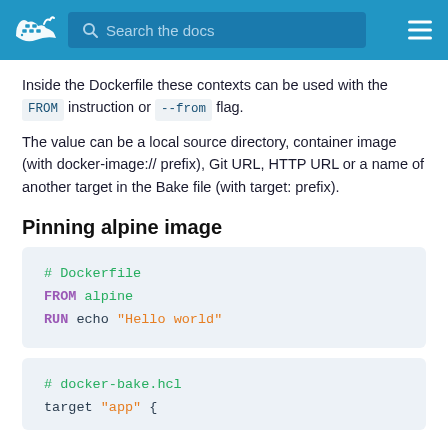Search the docs
Inside the Dockerfile these contexts can be used with the FROM instruction or --from flag.
The value can be a local source directory, container image (with docker-image:// prefix), Git URL, HTTP URL or a name of another target in the Bake file (with target: prefix).
Pinning alpine image
# Dockerfile
FROM alpine
RUN echo "Hello world"
# docker-bake.hcl
target "app" {